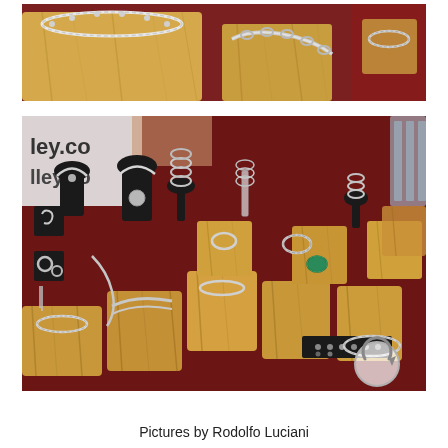[Figure (photo): Close-up photograph of silver jewelry (bracelets and chains) displayed on wooden block stands against a dark red background.]
[Figure (photo): Wide photograph of a jewelry display booth showing many silver necklaces, bracelets, earrings, and rings arranged on wooden block stands with black velvet busts and ring holders. A sign in the background reads 'ley.co'. A watermarked circular arrow icon is visible in the lower right corner.]
Pictures by Rodolfo Luciani